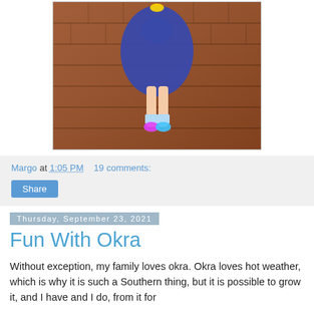[Figure (photo): A child in a blue/purple dress standing on a red brick patio against a brick wall, showing legs and colorful sneakers with white socks]
Margo at 1:05 PM    19 comments:
Share
Thursday, September 23, 2021
Fun With Okra
Without exception, my family loves okra. Okra loves hot weather, which is why it is such a Southern thing, but it is possible to grow it, and I have and I do, from it for